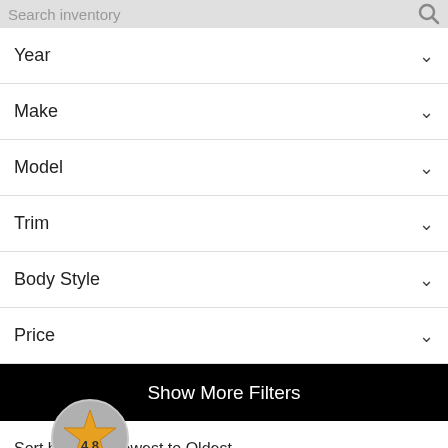Search inventory
Year
Make
Model
Trim
Body Style
Price
Show More Filters
Sort by Year: Newest to Oldest
[Figure (infographic): Rating badge showing 4.8 star rating with gold star icon on grey circular background]